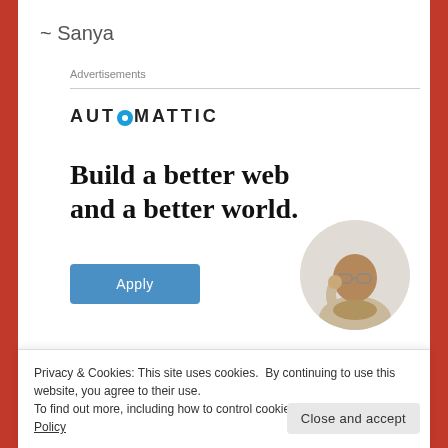~ Sanya
Advertisements
[Figure (logo): AUTOMATTIC logo with circular icon replacing the O]
Build a better web and a better world.
[Figure (illustration): Apply button (blue/steel) and circular photo of a man thinking, resting chin on hand]
Privacy & Cookies: This site uses cookies. By continuing to use this website, you agree to their use. To find out more, including how to control cookies, see here: Cookie Policy
Close and accept